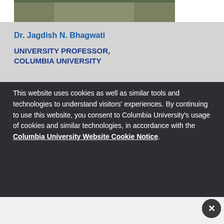[Figure (photo): Partial photo of Dr. Jagdish N. Bhagwati, cropped showing lower portion of a portrait]
Dr. Jagdish N. Bhagwati
UNIVERSITY PROFESSOR, COLUMBIA UNIVERSITY
This website uses cookies as well as similar tools and technologies to understand visitors' experiences. By continuing to use this website, you consent to Columbia University's usage of cookies and similar technologies, in accordance with the Columbia University Website Cookie Notice.
[Figure (other): Bottom panel with close (X) button for cookie notice dialog]